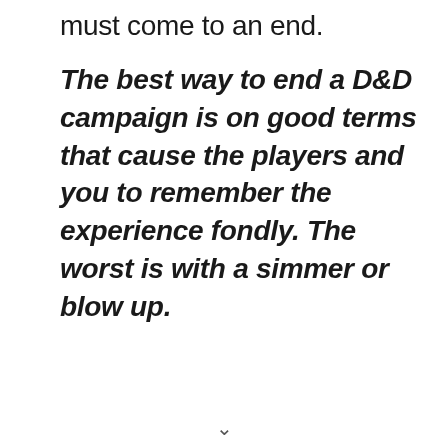must come to an end.
The best way to end a D&D campaign is on good terms that cause the players and you to remember the experience fondly. The worst is with a simmer or blow up.